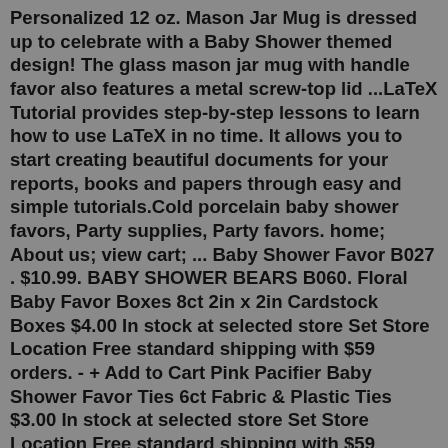Personalized 12 oz. Mason Jar Mug is dressed up to celebrate with a Baby Shower themed design! The glass mason jar mug with handle favor also features a metal screw-top lid ...LaTeX Tutorial provides step-by-step lessons to learn how to use LaTeX in no time. It allows you to start creating beautiful documents for your reports, books and papers through easy and simple tutorials.Cold porcelain baby shower favors, Party supplies, Party favors. home; About us; view cart; ... Baby Shower Favor B027 . $10.99. BABY SHOWER BEARS B060. Floral Baby Favor Boxes 8ct 2in x 2in Cardstock Boxes $4.00 In stock at selected store Set Store Location Free standard shipping with $59 orders. - + Add to Cart Pink Pacifier Baby Shower Favor Ties 6ct Fabric & Plastic Ties $3.00 In stock at selected store Set Store Location Free standard shipping with $59 orders. - + Add to CartBestseller Cupcake Gift Box. From $ 22.50. View Item. SHOP ONLINE. "I've made a point to include Whipped Bakeshop in every major moment of my life. From anniversaries and new home purchases to